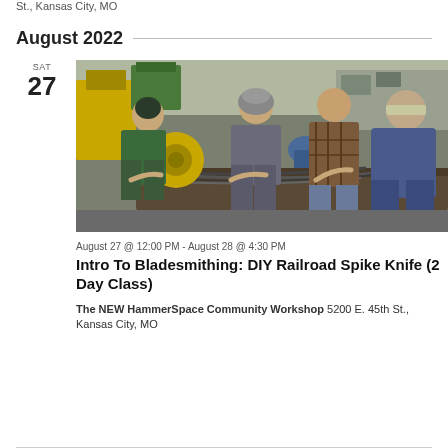St., Kansas City, MO
August 2022
SAT
27
[Figure (photo): Four people working together at a workbench in an industrial workshop, handling metal rods and tools. Workshop setting with equipment and materials visible in the background.]
August 27 @ 12:00 PM - August 28 @ 4:30 PM
Intro To Bladesmithing: DIY Railroad Spike Knife (2 Day Class)
The NEW HammerSpace Community Workshop 5200 E. 45th St., Kansas City, MO